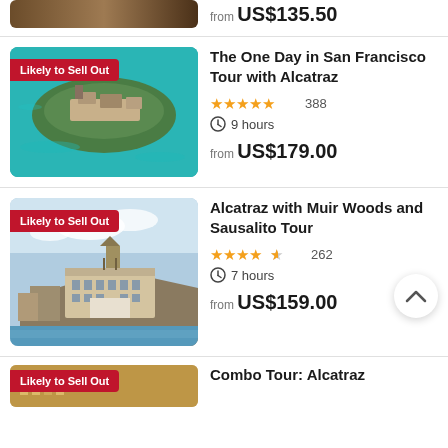from US$135.50
[Figure (photo): Aerial view of Alcatraz Island surrounded by blue-green water]
Likely to Sell Out
The One Day in San Francisco Tour with Alcatraz
★★★★★ 388
9 hours
from US$179.00
[Figure (photo): Photo of Alcatraz prison building with water tower, viewed from the water]
Likely to Sell Out
Alcatraz with Muir Woods and Sausalito Tour
★★★★½ 262
7 hours
from US$159.00
[Figure (photo): Partial bottom image of a building with Likely to Sell Out badge]
Combo Tour: Alcatraz